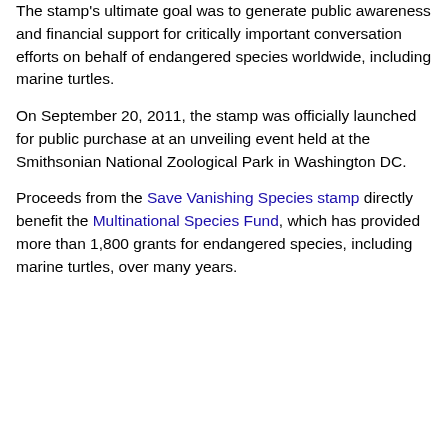The stamp's ultimate goal was to generate public awareness and financial support for critically important conversation efforts on behalf of endangered species worldwide, including marine turtles.
On September 20, 2011, the stamp was officially launched for public purchase at an unveiling event held at the Smithsonian National Zoological Park in Washington DC.
Proceeds from the Save Vanishing Species stamp directly benefit the Multinational Species Fund, which has provided more than 1,800 grants for endangered species, including marine turtles, over many years.